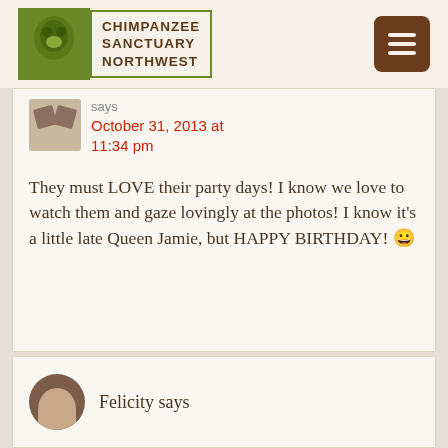Chimpanzee Sanctuary Northwest
says
October 31, 2013 at 11:34 pm
They must LOVE their party days! I know we love to watch them and gaze lovingly at the photos! I know it's a little late Queen Jamie, but HAPPY BIRTHDAY! 😀
Felicity says